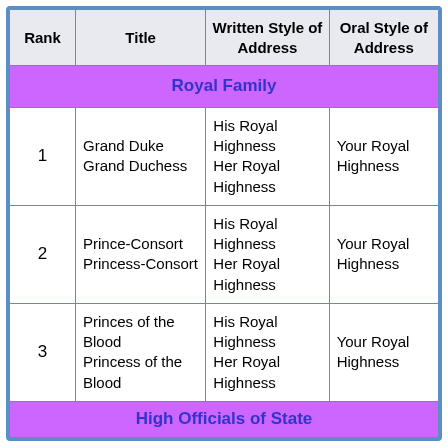| Rank | Title | Written Style of Address | Oral Style of Address |
| --- | --- | --- | --- |
| Royal Family |  |  |  |
| 1 | Grand Duke
Grand Duchess | His Royal Highness
Her Royal Highness | Your Royal Highness |
| 2 | Prince-Consort
Princess-Consort | His Royal Highness
Her Royal Highness | Your Royal Highness |
| 3 | Princes of the Blood
Princess of the Blood | His Royal Highness
Her Royal Highness | Your Royal Highness |
| High Officials of State |  |  |  |